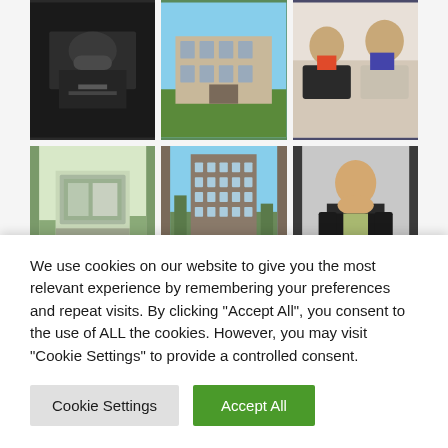[Figure (photo): Grid of 6 photos: chef in kitchen, historic building exterior, people at meeting with laptops, aerial architectural model, modern multi-story building, professional woman with arms crossed]
Categories
> Editor's Blog (101)
We use cookies on our website to give you the most relevant experience by remembering your preferences and repeat visits. By clicking "Accept All", you consent to the use of ALL the cookies. However, you may visit "Cookie Settings" to provide a controlled consent.